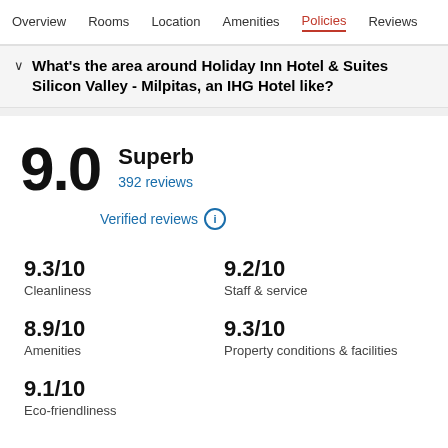Overview  Rooms  Location  Amenities  Policies  Reviews
What's the area around Holiday Inn Hotel & Suites Silicon Valley - Milpitas, an IHG Hotel like?
9.0  Superb  392 reviews  Verified reviews
9.3/10 Cleanliness
9.2/10 Staff & service
8.9/10 Amenities
9.3/10 Property conditions & facilities
9.1/10 Eco-friendliness